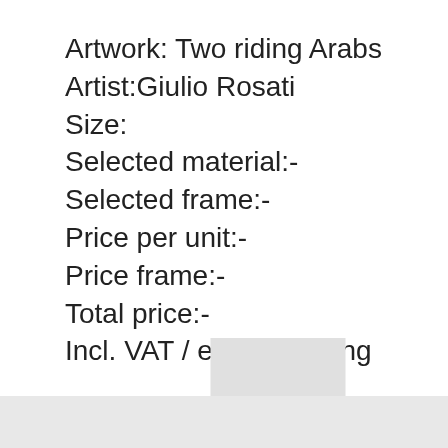Artwork: Two riding Arabs
Artist:Giulio Rosati
Size:
Selected material:-
Selected frame:-
Price per unit:-
Price frame:-
Total price:-
Incl. VAT / excl. Shipping